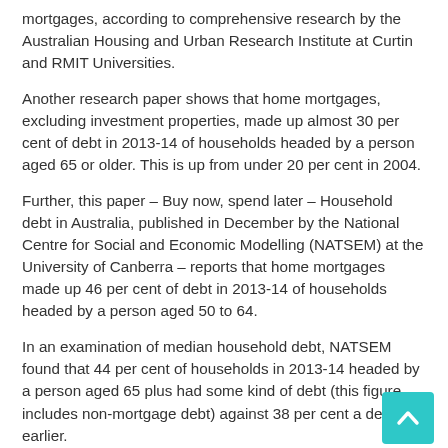mortgages, according to comprehensive research by the Australian Housing and Urban Research Institute at Curtin and RMIT Universities.
Another research paper shows that home mortgages, excluding investment properties, made up almost 30 per cent of debt in 2013-14 of households headed by a person aged 65 or older. This is up from under 20 per cent in 2004.
Further, this paper – Buy now, spend later – Household debt in Australia, published in December by the National Centre for Social and Economic Modelling (NATSEM) at the University of Canberra – reports that home mortgages made up 46 per cent of debt in 2013-14 of households headed by a person aged 50 to 64.
In an examination of median household debt, NATSEM found that 44 per cent of households in 2013-14 headed by a person aged 65 plus had some kind of debt (this figure includes non-mortgage debt) against 38 per cent a decade earlier.